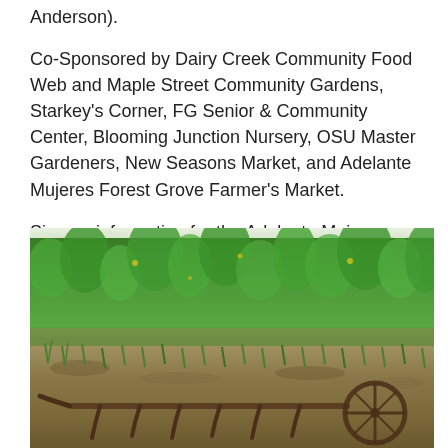Anderson).
Co-Sponsored by Dairy Creek Community Food Web and Maple Street Community Gardens, Starkey's Corner, FG Senior & Community Center, Blooming Junction Nursery, OSU Master Gardeners, New Seasons Market, and Adelante Mujeres Forest Grove Farmer's Market.
Sign up information for the Adelante Mujeres 2017 CSA will be on hand.
[Figure (photo): Outdoor farm/garden photo showing lush green vegetation and leafy plants in the background, with rows of young plant shoots growing in brown soil in the foreground, and rusty old farming equipment (plow or cultivator) resting on the soil.]